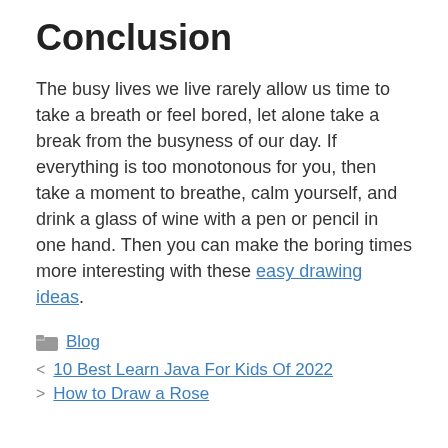Conclusion
The busy lives we live rarely allow us time to take a breath or feel bored, let alone take a break from the busyness of our day. If everything is too monotonous for you, then take a moment to breathe, calm yourself, and drink a glass of wine with a pen or pencil in one hand. Then you can make the boring times more interesting with these easy drawing ideas.
Blog
10 Best Learn Java For Kids Of 2022
How to Draw a Rose